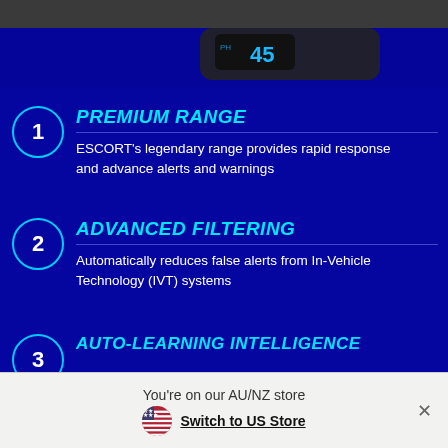[Figure (photo): Dark device (radar detector) showing display with '45' in blue/white LEDs, partially visible at top of page against dark background]
1 PREMIUM RANGE
ESCORT's legendary range provides rapid response and advance alerts and warnings
2 ADVANCED FILTERING
Automatically reduces false alerts from In-Vehicle Technology (IVT) systems
3 AUTO-LEARNING INTELLIGENCE
You're on our AU/NZ store Switch to US Store